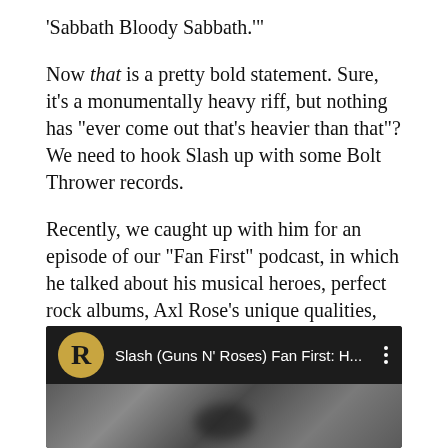'Sabbath Bloody Sabbath.'"
Now that is a pretty bold statement. Sure, it's a monumentally heavy riff, but nothing has "ever come out that's heavier than that"? We need to hook Slash up with some Bolt Thrower records.
Recently, we caught up with him for an episode of our "Fan First" podcast, in which he talked about his musical heroes, perfect rock albums, Axl Rose's unique qualities, and much more. Watch below.
[Figure (screenshot): Video thumbnail showing a YouTube-style video player with a circular logo containing the letter R on a gold background, and the title 'Slash (Guns N' Roses) Fan First: H...' with a three-dot menu icon, over a dark background showing a person wearing glasses.]